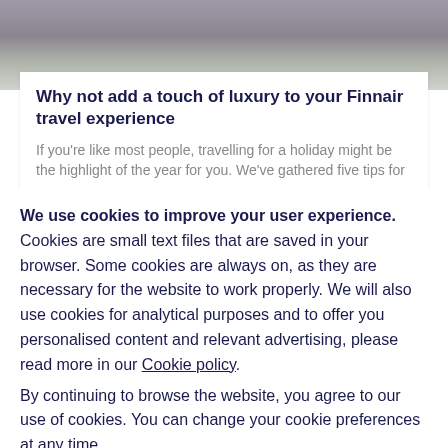[Figure (photo): Blurred background image at the top of the page, showing muted gray-purple tones]
Why not add a touch of luxury to your Finnair travel experience
If you're like most people, travelling for a holiday might be the highlight of the year for you. We've gathered five tips for you.
We use cookies to improve your user experience. Cookies are small text files that are saved in your browser. Some cookies are always on, as they are necessary for the website to work properly. We will also use cookies for analytical purposes and to offer you personalised content and relevant advertising, please read more in our Cookie policy.
By continuing to browse the website, you agree to our use of cookies. You can change your cookie preferences at any time.
Close
Set your cookie preferences